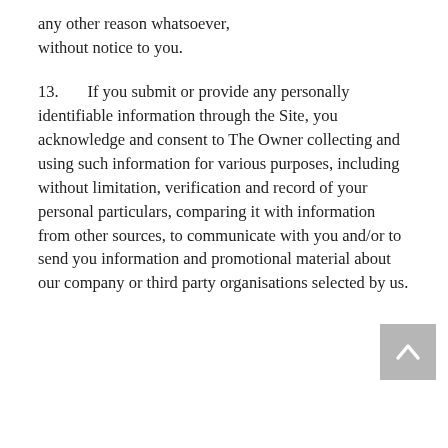any other reason whatsoever, without notice to you.
13.      If you submit or provide any personally identifiable information through the Site, you acknowledge and consent to The Owner collecting and using such information for various purposes, including without limitation, verification and record of your personal particulars, comparing it with information from other sources, to communicate with you and/or to send you information and promotional material about our company or third party organisations selected by us.